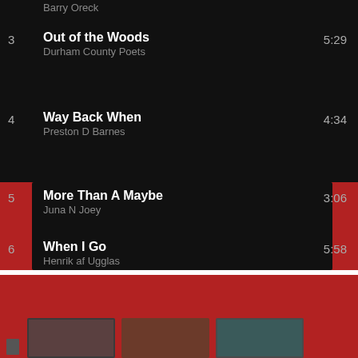Barry Oreck
3  Out of the Woods  5:29
Durham County Poets
4  Way Back When  4:34
Preston D Barnes
5  More Than A Maybe  3:06
Juna N Joey
6  When I Go  5:58
Henrik af Ugglas
[Figure (screenshot): Bottom red area with partial thumbnail images of album covers]